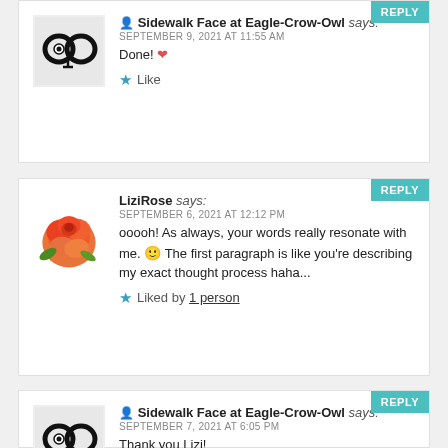REPLY
[Figure (illustration): Sidewalk Face at Eagle-Crow-Owl avatar: black infinity/owl symbol with an eye]
Sidewalk Face at Eagle-Crow-Owl says:
SEPTEMBER 9, 2021 AT 11:55 AM
Done! ❤
★ Like
REPLY
[Figure (photo): LiziRose avatar: orange/red rose flower photo]
LiziRose says:
SEPTEMBER 6, 2021 AT 12:12 PM
ooooh! As always, your words really resonate with me. 🙂 The first paragraph is like you're describing my exact thought process haha...
★ Liked by 1 person
REPLY
[Figure (illustration): Sidewalk Face at Eagle-Crow-Owl avatar: black infinity/owl symbol with an eye]
Sidewalk Face at Eagle-Crow-Owl says:
SEPTEMBER 7, 2021 AT 6:05 PM
Thank you Lizi!